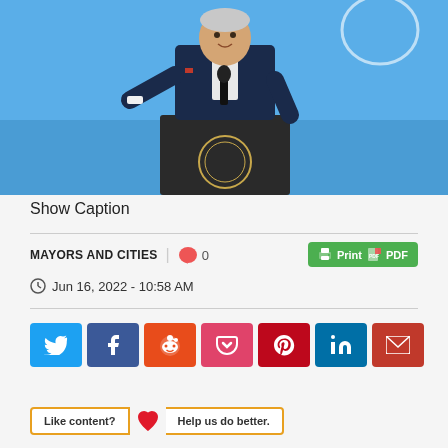[Figure (photo): A man in a dark suit speaking at a podium with a presidential seal, gesturing with one hand, against a blue background.]
Show Caption
MAYORS AND CITIES | 0
Jun 16, 2022 - 10:58 AM
[Figure (other): Social sharing buttons row: Twitter, Facebook, Reddit, Pocket, Pinterest, LinkedIn, Email]
[Figure (other): Like content? Help us do better. buttons with heart icon]